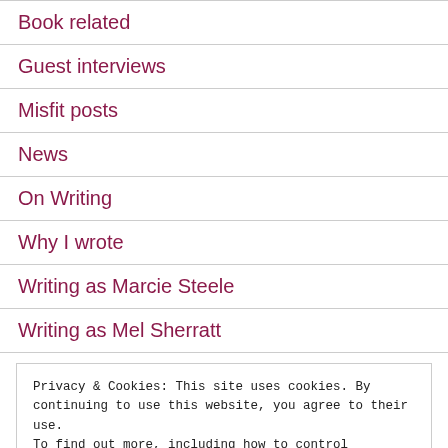Book related
Guest interviews
Misfit posts
News
On Writing
Why I wrote
Writing as Marcie Steele
Writing as Mel Sherratt
Privacy & Cookies: This site uses cookies. By continuing to use this website, you agree to their use.
To find out more, including how to control cookies, see here: Cookie Policy
Close and accept